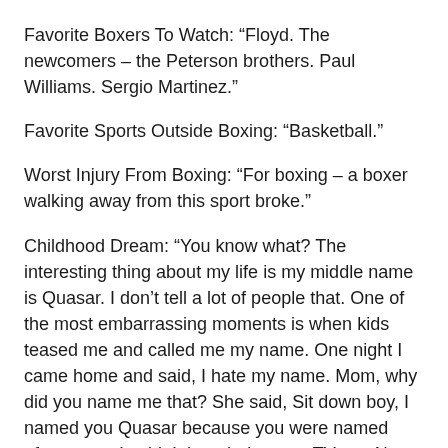Favorite Boxers To Watch: “Floyd. The newcomers – the Peterson brothers. Paul Williams. Sergio Martinez.”
Favorite Sports Outside Boxing: “Basketball.”
Worst Injury From Boxing: “For boxing – a boxer walking away from this sport broke.”
Childhood Dream: “You know what? The interesting thing about my life is my middle name is Quasar. I don’t tell a lot of people that. One of the most embarrassing moments is when kids teased me and called me my name. One night I came home and said, I hate my name. Mom, why did you name me that? She said, Sit down boy, I named you Quasar because you were named after a star. I said, I thought it was a TV set. No that’s a star. At that time